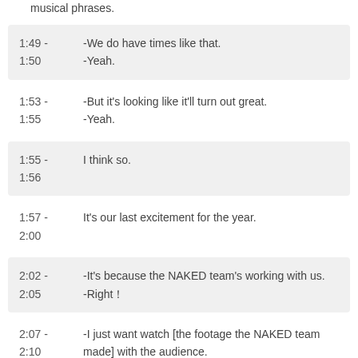musical phrases.
| 1:49 -
1:50 | -We do have times like that.
-Yeah. |
| 1:53 -
1:55 | -But it's looking like it'll turn out great.
-Yeah. |
| 1:55 -
1:56 | I think so. |
| 1:57 -
2:00 | It's our last excitement for the year. |
| 2:02 -
2:05 | -It's because the NAKED team's working with us.
-Right！ |
| 2:07 -
2:10 | -I just want watch [the footage the NAKED team made] with the audience.
-Same. |